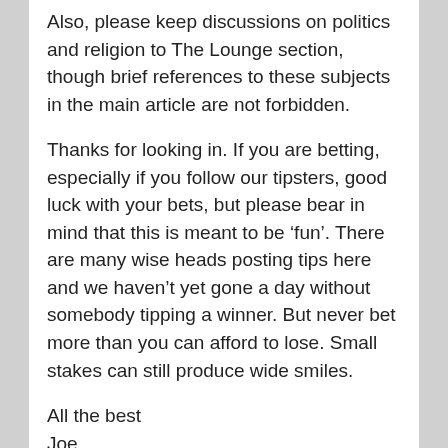Also, please keep discussions on politics and religion to The Lounge section, though brief references to these subjects in the main article are not forbidden.
Thanks for looking in. If you are betting, especially if you follow our tipsters, good luck with your bets, but please bear in mind that this is meant to be ‘fun’. There are many wise heads posting tips here and we haven’t yet gone a day without somebody tipping a winner. But never bet more than you can afford to lose. Small stakes can still produce wide smiles.
All the best
Joe